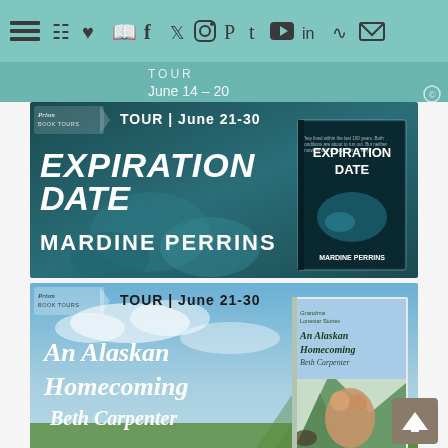[Figure (screenshot): Website navigation bar with teal/mint background, hamburger menu icon on left, followed by social media and utility icons (cart, heart, book, facebook, twitter, instagram, pinterest, tumblr, youtube, linkedin, rss, email)]
[Figure (screenshot): Prism Book Tours banner for 'Expiration Date' by Mardine Perrins, TOUR | June 21-30, dark teal background with baby feet image and book cover showing thriller book]
[Figure (screenshot): Prism Book Tours banner for 'An Alaskan Homecoming' by Beth Carpenter, TOUR | June 21-30, sky blue background with couple embracing and book cover]
[Figure (screenshot): Prism Book Tours banner for 'The Truth About...' TOUR | June 21 - July 7, dark background with wooden door and book cover, partially visible at bottom]